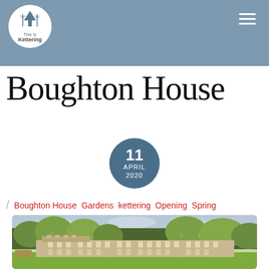This is Kettering
Boughton House
11 APRIL 2020
Boughton House  Gardens  kettering  Opening  Spring
[Figure (photo): Exterior photograph of Boughton House, a large stately English country house with classical French-inspired architecture, set in green lawns with mature trees behind it, photographed in spring.]